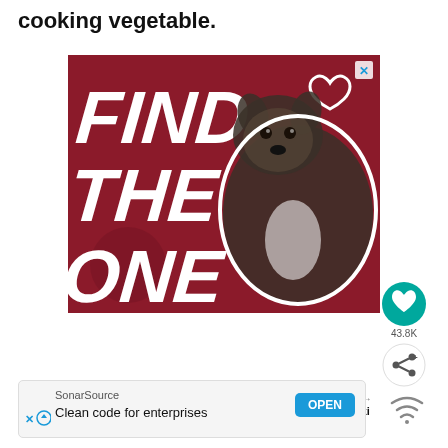cooking vegetable.
[Figure (photo): Advertisement with dark red/maroon background showing 'FIND THE ONE' in large white bold text with a brindle dog (pit bull puppy) on the right side and a white heart outline in the upper right corner. Has a small X close button in the upper right.]
[Figure (other): Heart icon button (teal/green circle) with 43.8K count below, and share icon button below that]
[Figure (other): WHAT'S NEXT arrow label with thumbnail image and text 'Baked Teriyaki Salmon She...']
[Figure (other): Bottom banner advertisement: SonarSource - Clean code for enterprises - OPEN button]